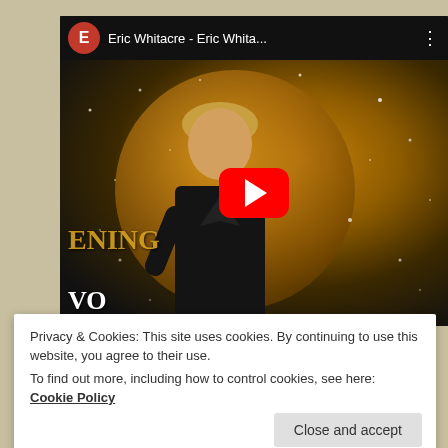[Figure (screenshot): YouTube video embed showing Eric Whitacre music video. Top bar shows red circle avatar with letter E, title 'Eric Whitacre - Eric Whita...' and three-dot menu. Thumbnail shows a man in a black suit standing in front of a golden glowing orb with sparkles, text 'ENING' and 'VO' visible. A large red YouTube play button is centered on the thumbnail.]
Privacy & Cookies: This site uses cookies. By continuing to use this website, you agree to their use.
To find out more, including how to control cookies, see here: Cookie Policy